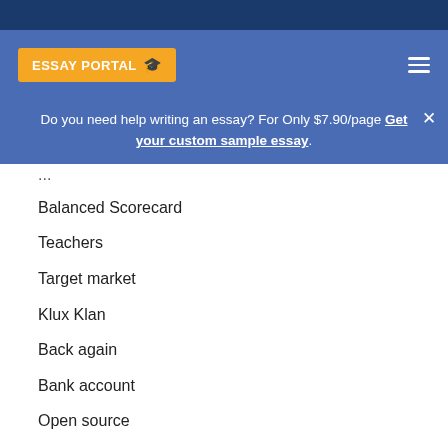ESSAY PORTAL
Do you need help writing an essay? For Only $7.90/page Get your custom sample essay.
Balanced Scorecard
Teachers
Target market
Klux Klan
Back again
Bank account
Open source
Third party
Saudi Arabia
Cellular material
Great Gatsby
Knowledge
Greek